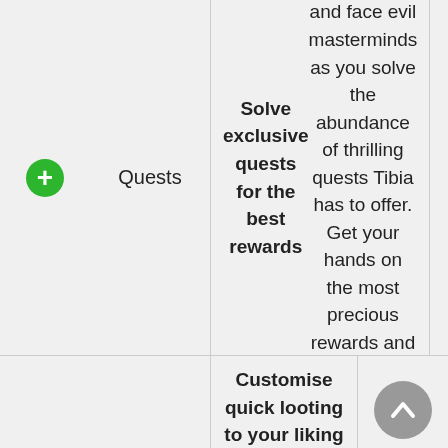Quests
Solve exclusive quests for the best rewards - Unravel mysteries and face evil masterminds as you solve the abundance of thrilling quests Tibia has to offer. Get your hands on the most precious rewards and rare treasures!
280+
Customise quick looting to your liking - Refine the Loot All option by